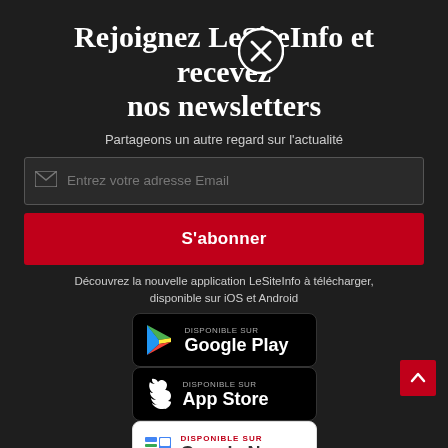Rejoignez LeSiteInfo et recevez nos newsletters
Partageons un autre regard sur l'actualité
Entrez votre adresse Email
S'abonner
Découvrez la nouvelle application LeSiteInfo à télécharger, disponible sur iOS et Android
[Figure (logo): Google Play store badge with play icon - DISPONIBLE SUR Google Play]
[Figure (logo): Apple App Store badge with Apple logo - Disponible sur App Store]
[Figure (logo): Google News badge - DISPONIBLE SUR Google News]